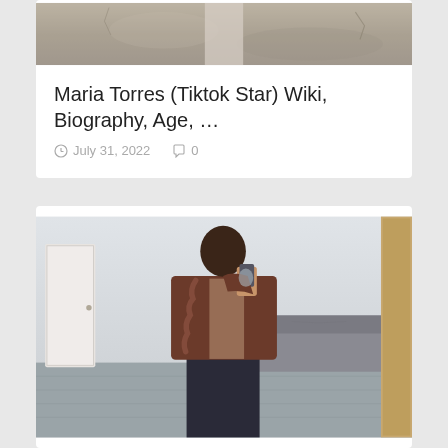[Figure (photo): Partial photo of a person standing outdoors against a rough stone/dirt wall background, cropped at the top]
Maria Torres (Tiktok Star) Wiki, Biography, Age, …
July 31, 2022    0
[Figure (photo): Mirror selfie of a young woman wearing a brown oversized jacket with frayed/ruffled trim over a light top and dark wide-leg jeans, taken in a living room with a couch and hardwood floor visible in the mirror]
Jezabelle (Tiktok Star) Wiki,